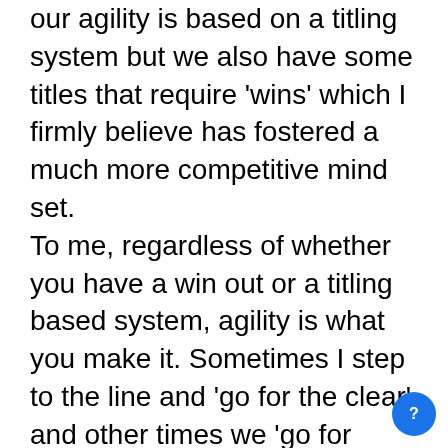our agility is based on a titling system but we also have some titles that require 'wins' which I firmly believe has fostered a much more competitive mind set. To me, regardless of whether you have a win out or a titling based system, agility is what you make it. Sometimes I step to the line and 'go for the clear' and other times we 'go for broke'- it is up to me to make that decision but more often than not we are going for broke as I love running that way. It really just depends what type of comp it is though. For example, if my goal is an individual all round championship (best placed dog after four rounds, one each of agility, jumping, snooker and gamblers) and I am sitting on 3 clear rounds. When I step to the line for round 4 you can bet I am going